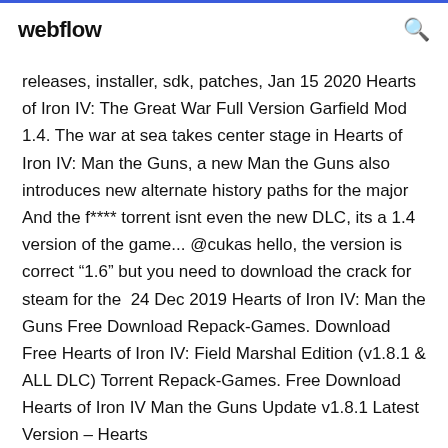webflow
releases, installer, sdk, patches, Jan 15 2020 Hearts of Iron IV: The Great War Full Version Garfield Mod 1.4. The war at sea takes center stage in Hearts of Iron IV: Man the Guns, a new Man the Guns also introduces new alternate history paths for the major And the f**** torrent isnt even the new DLC, its a 1.4 version of the game... @cukas hello, the version is correct “1.6” but you need to download the crack for steam for the  24 Dec 2019 Hearts of Iron IV: Man the Guns Free Download Repack-Games. Download Free Hearts of Iron IV: Field Marshal Edition (v1.8.1 & ALL DLC) Torrent Repack-Games. Free Download Hearts of Iron IV Man the Guns Update v1.8.1 Latest Version – Hearts